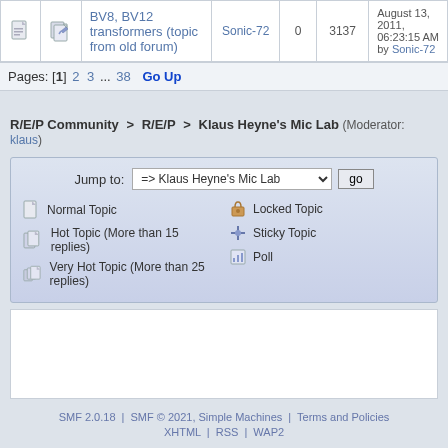|  |  | Topic | Author | Replies | Views | Last Post |
| --- | --- | --- | --- | --- | --- | --- |
|  |  | BV8, BV12 transformers (topic from old forum) | Sonic-72 | 0 | 3137 | August 13, 2011, 06:23:15 AM by Sonic-72 |
Pages: [1] 2 3 ... 38  Go Up
R/E/P Community > R/E/P > Klaus Heyne's Mic Lab (Moderator: klaus)
Jump to: => Klaus Heyne's Mic Lab  go
Normal Topic
Hot Topic (More than 15 replies)
Very Hot Topic (More than 25 replies)
Locked Topic
Sticky Topic
Poll
SMF 2.0.18 | SMF © 2021, Simple Machines | Terms and Policies  XHTML | RSS | WAP2